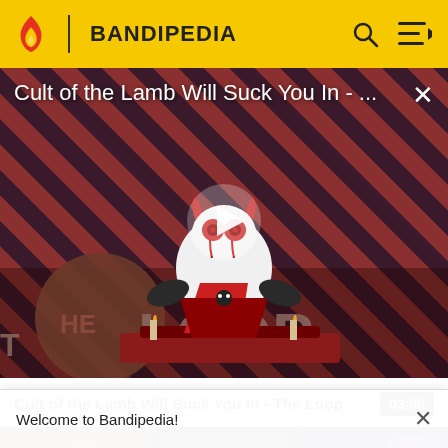BANDIPEDIA
[Figure (screenshot): Video thumbnail for 'Cult of the Lamb Will Suck You In - The Loop' showing an animated lamb character with red eyes on a diagonal striped background with THE LOOP branding, with a play button overlay]
Cult of the Lamb Will Suck You In - ...
Cult of the Lamb Will Suck You In - The Loop  03:08
[Figure (screenshot): Row of three video thumbnails]
Welcome to Bandipedia!